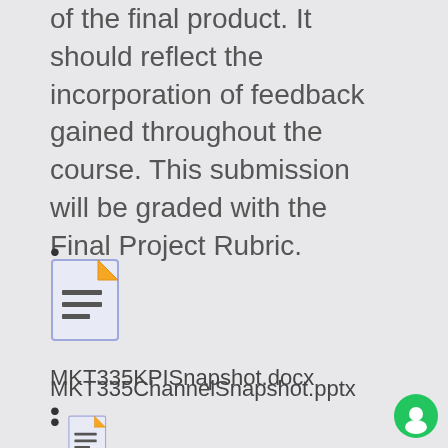of the final product. It should reflect the incorporation of feedback gained throughout the course. This submission will be graded with the Final Project Rubric.
•
[Figure (illustration): Document file icon with orange folded corner and horizontal text lines]
MKT335KPISnapshot.docx
•
[Figure (illustration): Document file icon with orange folded corner and horizontal text lines]
MKT335ChannelSnapshot.pptx
•
[Figure (illustration): Document file icon with orange folded corner and horizontal text lines (partially visible)]